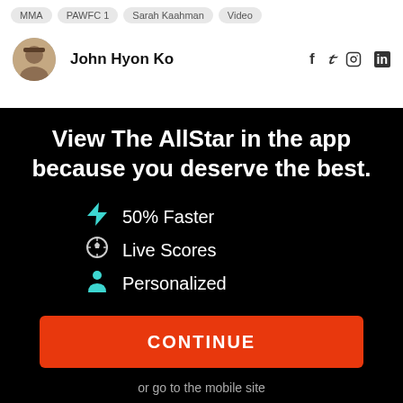MMA
PAWFC 1
Sarah Kaahman
Video
John Hyon Ko
View The AllStar in the app because you deserve the best.
50% Faster
Live Scores
Personalized
CONTINUE
or go to the mobile site